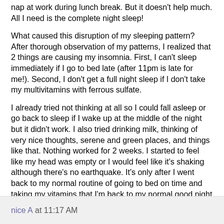nap at work during lunch break. But it doesn't help much. All I need is the complete night sleep!
What caused this disruption of my sleeping pattern? After thorough observation of my patterns, I realized that 2 things are causing my insomnia. First, I can't sleep immediately if I go to bed late (after 11pm is late for me!). Second, I don't get a full night sleep if I don't take my multivitamins with ferrous sulfate.
I already tried not thinking at all so I could fall asleep or go back to sleep if I wake up at the middle of the night but it didn't work. I also tried drinking milk, thinking of very nice thoughts, serene and green places, and things like that. Nothing worked for 2 weeks. I started to feel like my head was empty or I would feel like it's shaking although there's no earthquake. It's only after I went back to my normal routine of going to bed on time and taking my vitamins that I'm back to my normal good night rest again. Thank God! There's no substitute for a complete night rest for me.
nice A at 11:17 AM